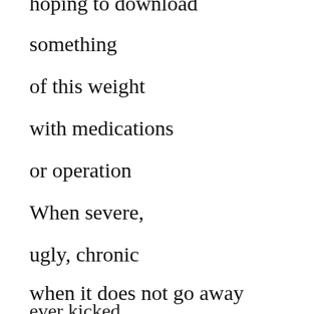hoping to download
something
of this weight
with medications
or operation
When severe,
ugly, chronic
when it does not go away
ever kicked